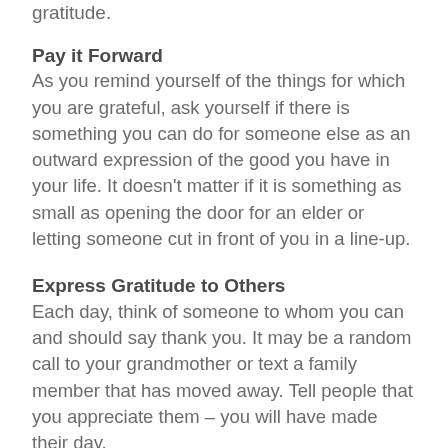gratitude.
Pay it Forward
As you remind yourself of the things for which you are grateful, ask yourself if there is something you can do for someone else as an outward expression of the good you have in your life. It doesn't matter if it is something as small as opening the door for an elder or letting someone cut in front of you in a line-up.
Express Gratitude to Others
Each day, think of someone to whom you can and should say thank you. It may be a random call to your grandmother or text a family member that has moved away. Tell people that you appreciate them – you will have made their day.
Keep a Journal